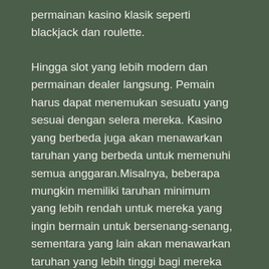permainan kasino klasik seperti blackjack dan roulette.
Hingga slot yang lebih modern dan permainan dealer langsung. Pemain harus dapat menemukan sesuatu yang sesuai dengan selera mereka. Kasino yang berbeda juga akan menawarkan taruhan yang berbeda untuk memenuhi semua anggaran.Misalnya, beberapa mungkin memiliki taruhan minimum yang lebih rendah untuk mereka yang ingin bermain untuk bersenang-senang, sementara yang lain akan menawarkan taruhan yang lebih tinggi bagi mereka yang ingin menang besar.
Beberapa kasino online terbaik juga akan menawarkan permainan eksklusif yang tidak dapat Anda temukan di tempat lain. Ini adalah cara hebat lainnya untuk membuat pemain tetap terhibur dan kembali lagi. Jadi, jika Anda mencari kasino online yang bagus, pastikan itu memiliki berbagai macam permainan yang ditawarkan. Anda tidak